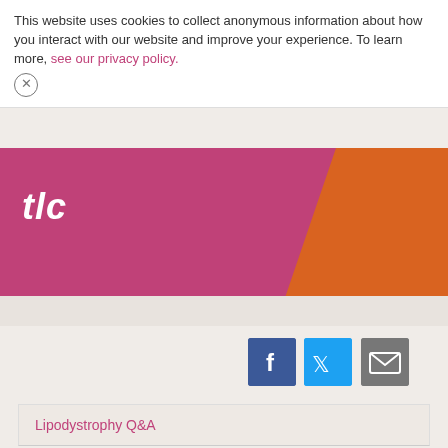This website uses cookies to collect anonymous information about how you interact with our website and improve your experience. To learn more, see our privacy policy.
tlc
[Figure (infographic): Social sharing buttons: Facebook (blue), Twitter (light blue), Email (gray)]
Lipodystrophy Q&A
Stories
Stories